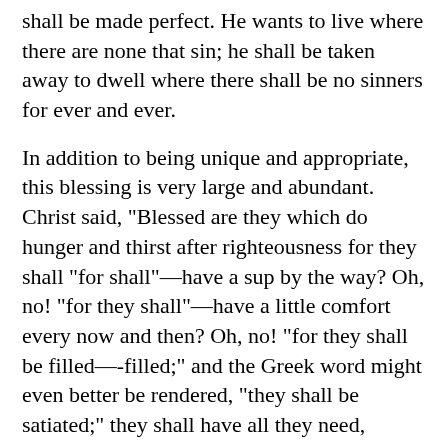shall be made perfect. He wants to live where there are none that sin; he shall be taken away to dwell where there shall be no sinners for ever and ever.
In addition to being unique and appropriate, this blessing is very large and abundant. Christ said, "Blessed are they which do hunger and thirst after righteousness for they shall "for shall"—have a sup by the way? Oh, no! "for they shall"—have a little comfort every now and then? Oh, no! "for they shall be filled—-filled;" and the Greek word might even better be rendered, "they shall be satiated;" they shall have all they need, enough and to, spare. They who hunger and thirst after righteousness shall be filled;—filled to the brim. How true this is! Here is a man who says, "I am condemned in the sight of God; I feel and know that no action of mine can ever make me righteous before him. I have given up all hope of self-justification." Listen, O man! Wilt thou believe in Jesus Christ, the Son of God, and take him to stand before God as thy Substitute and Representative? "I will," saith he; "I do trust in him, and